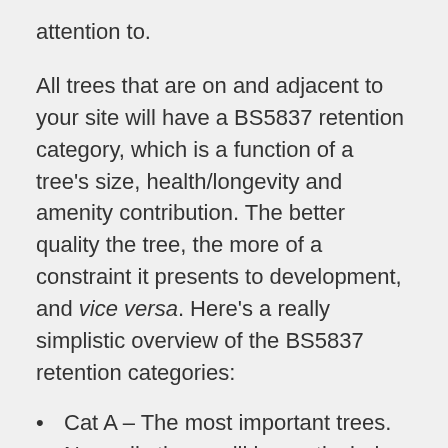attention to.
All trees that are on and adjacent to your site will have a BS5837 retention category, which is a function of a tree’s size, health/longevity and amenity contribution. The better quality the tree, the more of a constraint it presents to development, and vice versa. Here’s a really simplistic overview of the BS5837 retention categories:
Cat A – The most important trees. Normally these will be particularly good specimens, be prominent in the street scene, or have other important quality qualities (such as ecosystem services or cultural value – think Robin Hood and the Major Oak in Sherwood Forest). Generally Cat A trees will be